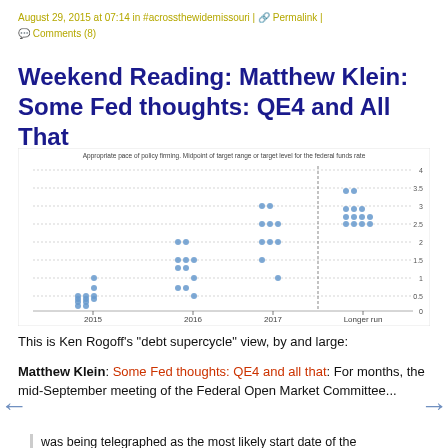August 29, 2015 at 07:14 in #acrossthewidemissouri | Permalink | Comments (8)
Weekend Reading: Matthew Klein: Some Fed thoughts: QE4 and All That
[Figure (continuous-plot): Fed dot plot: Appropriate pace of policy firming. Midpoint of target range or target level for the federal funds rate. X-axis shows years 2015, 2016, 2017, Longer run. Y-axis shows values from 0 to 4. Scatter of blue dots showing FOMC participants' projections.]
This is Ken Rogoff's "debt supercycle" view, by and large:
Matthew Klein: Some Fed thoughts: QE4 and all that: For months, the mid-September meeting of the Federal Open Market Committee...
was being telegraphed as the most likely start date of the